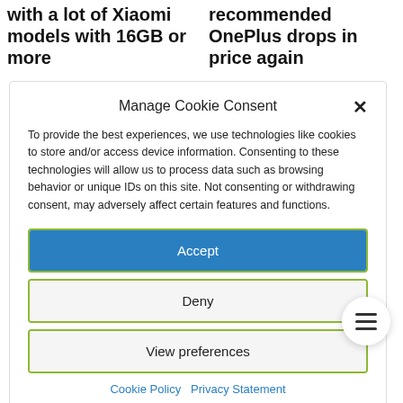with a lot of Xiaomi models with 16GB or more
recommended OnePlus drops in price again
Manage Cookie Consent
To provide the best experiences, we use technologies like cookies to store and/or access device information. Consenting to these technologies will allow us to process data such as browsing behavior or unique IDs on this site. Not consenting or withdrawing consent, may adversely affect certain features and functions.
Accept
Deny
View preferences
Cookie Policy   Privacy Statement